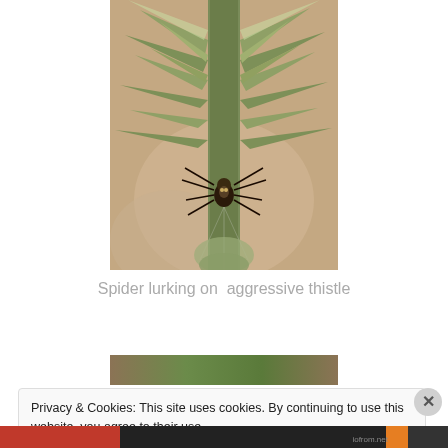[Figure (photo): A spider lurking under the spiny bracts of an aggressive thistle plant, macro photography with blurred background]
Spider lurking on  aggressive thistle
[Figure (photo): Partial view of another nature photograph, partially obscured by cookie banner]
Privacy & Cookies: This site uses cookies. By continuing to use this website, you agree to their use.
To find out more, including how to control cookies, see here: Cookie Policy